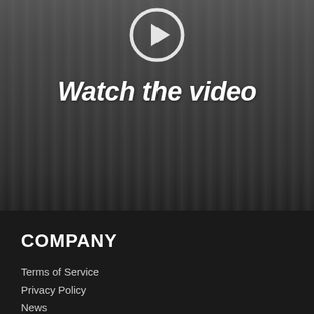[Figure (photo): A large crowd of people standing in what appears to be an automotive facility or showroom, with cars visible in the background. A play button icon appears at the top center over the image.]
Watch the video
COMPANY
Terms of Service
Privacy Policy
News